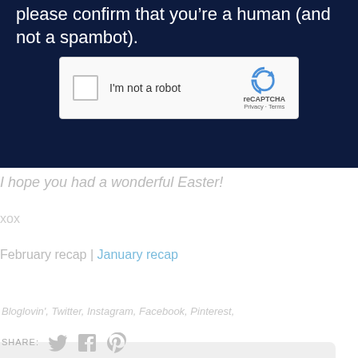please confirm that youâ€™re a human (and not a spambot).
[Figure (screenshot): reCAPTCHA widget with checkbox labeled 'I'm not a robot' and reCAPTCHA logo with Privacy and Terms links]
I hope you had a wonderful Easter!
xox
February recap | January recap
This website uses cookies to ensure you get the best experience on our website.
Learn more
Got it!
Bloglovin', Twitter, Instagram, Facebook, Pinterest,
SHARE: